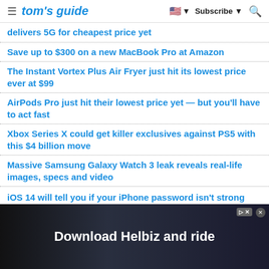tom's guide — Subscribe
delivers 5G for cheapest price yet
Save up to $300 on a new MacBook Pro at Amazon
The Instant Vortex Plus Air Fryer just hit its lowest price ever at $99
AirPods Pro just hit their lowest price yet — but you'll have to act fast
Xbox Series X could get killer exclusives against PS5 with this $4 billion move
Massive Samsung Galaxy Watch 3 leak reveals real-life images, specs and video
iOS 14 will tell you if your iPhone password isn't strong enough
[Figure (photo): Advertisement banner reading 'Download Helbiz and ride' with a dark background showing a person outdoors]